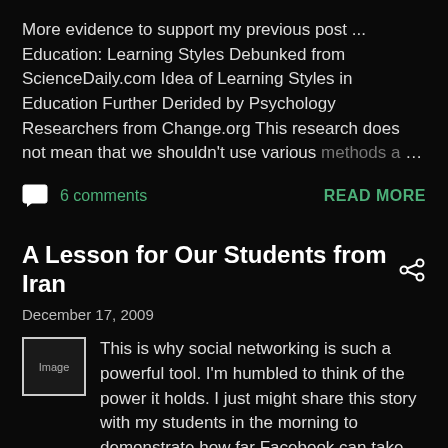More evidence to support my previous post ... Education: Learning Styles Debunked from ScienceDaily.com Idea of Learning Styles in Education Further Derided by Psychology Researchers from Change.org This research does not mean that we shouldn't use various methods a… …
6 comments
READ MORE
A Lesson for Our Students from Iran
December 17, 2009
[Figure (photo): Small image placeholder thumbnail]
This is why social networking is such a powerful tool. I'm humbled to think of the power it holds. I just might share this story with my students in the morning to demonstrate how far Facebook can take them. The truth is that, aside from …